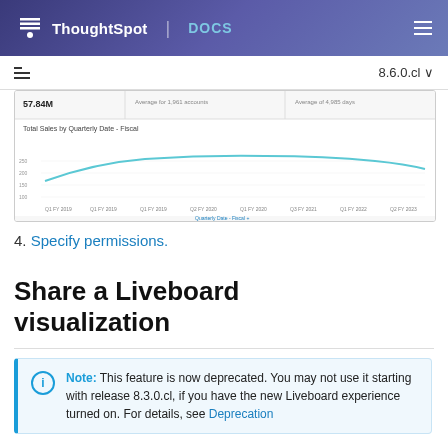ThoughtSpot DOCS
[Figure (screenshot): Screenshot of a ThoughtSpot liveboard showing KPI value 57.84M and a line chart titled Total Sales by Quarterly Date - Fiscal]
4. Specify permissions.
Share a Liveboard visualization
Note: This feature is now deprecated. You may not use it starting with release 8.3.0.cl, if you have the new Liveboard experience turned on. For details, see Deprecation